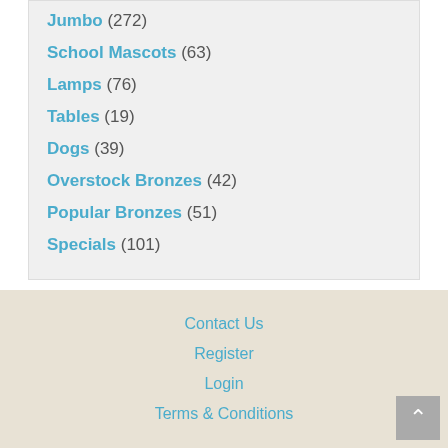Jumbo (272)
School Mascots (63)
Lamps (76)
Tables (19)
Dogs (39)
Overstock Bronzes (42)
Popular Bronzes (51)
Specials (101)
Contact Us
Register
Login
Terms & Conditions